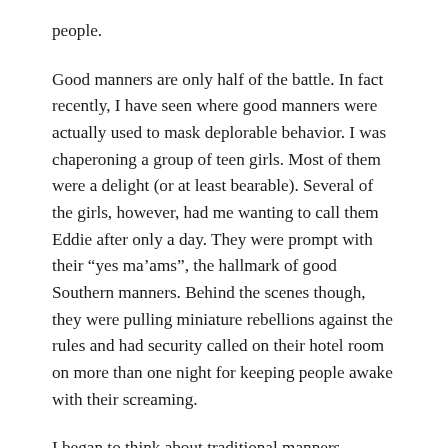people.
Good manners are only half of the battle. In fact recently, I have seen where good manners were actually used to mask deplorable behavior. I was chaperoning a group of teen girls. Most of them were a delight (or at least bearable). Several of the girls, however, had me wanting to call them Eddie after only a day. They were prompt with their “yes ma’ams”, the hallmark of good Southern manners. Behind the scenes though, they were pulling miniature rebellions against the rules and had security called on their hotel room on more than one night for keeping people awake with their screaming.
I began to think about traditional manners training. Often we are so focused on the correct words or what they are doing with their elbows, we forget to